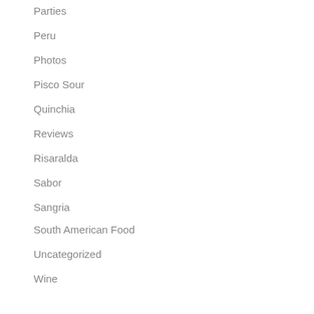Parties
Peru
Photos
Pisco Sour
Quinchia
Reviews
Risaralda
Sabor
Sangria
South American Food
Uncategorized
Wine
Wines
Meta